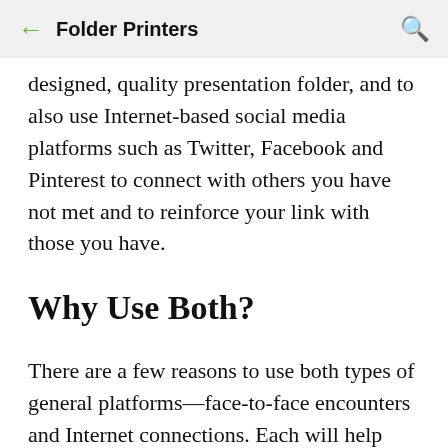Folder Printers
designed, quality presentation folder, and to also use Internet-based social media platforms such as Twitter, Facebook and Pinterest to connect with others you have not met and to reinforce your link with those you have.
Why Use Both?
There are a few reasons to use both types of general platforms—face-to-face encounters and Internet connections. Each will help you reach